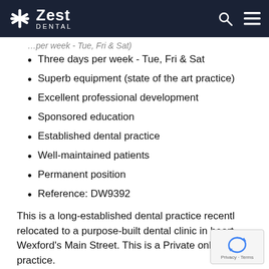Zest Dental
Three days per week - Tue, Fri & Sat
Superb equipment (state of the art practice)
Excellent professional development
Sponsored education
Established dental practice
Well-maintained patients
Permanent position
Reference: DW9392
This is a long-established dental practice recently relocated to a purpose-built dental clinic in heart of Wexford's Main Street. This is a Private only practice.